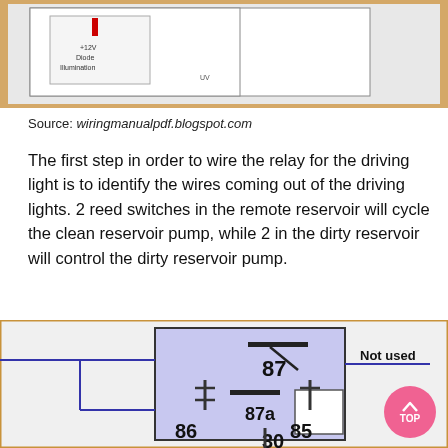[Figure (schematic): Partial view of an electrical/wiring schematic diagram with a box and labels including +12V, Diode, Illumination]
Source: wiringmanualpdf.blogspot.com
The first step in order to wire the relay for the driving light is to identify the wires coming out of the driving lights. 2 reed switches in the remote reservoir will cycle the clean reservoir pump, while 2 in the dirty reservoir will control the dirty reservoir pump.
[Figure (schematic): Relay wiring diagram showing relay terminals labeled 87, 87a, 86, 85, 30. Terminal 87 is labeled 'Not used'. A blue wire connects from the left. The relay body is shown as a purple/blue shaded box. A pink 'TOP' scroll button appears in the lower right.]